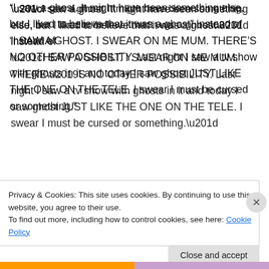“I saw a ghost. It might have been something else, but I liked to believe that it was a ghost” instead of “I SAW A GHOST. I SWEAR ON ME MUM. THERE’S NO OTHER POSSIBILITY. Last night I saw a tv show with ghosts in it and today I saw ghost JUST LIKE THE ONE ON THE TELE. I swear I must be cursed or something.”
★ Like
Reply
Privacy & Cookies: This site uses cookies. By continuing to use this website, you agree to their use.
To find out more, including how to control cookies, see here: Cookie Policy
Close and accept